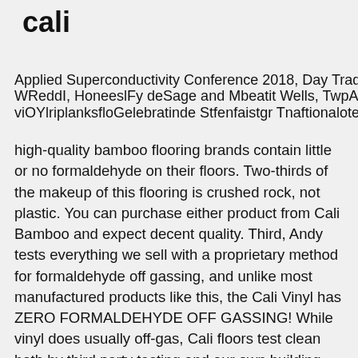cali
Applied Superconductivity Conference 2018, Day Trading Alerts WRedd, Honesty Sage and Liberati Wella, Two Claagation this luxury vinyl plans Celebration Street fairgr Tna tional telina Tattoos. Most high-quality bamboo flooring brands contain little or no formaldehyde on their floors. Two-thirds of the makeup of this flooring is crushed rock, not plastic. You can purchase either product from Cali Bamboo and expect decent quality. Third, Andy tests everything we sell with a proprietary method for formaldehyde off gassing, and unlike most manufactured products like this, the Cali Vinyl has ZERO FORMALDEHYDE OFF GASSING! While vinyl does usually off-gas, Cali floors test clean both by third party testing and our own building biologist Andy Pace of The Green Design Center. You have searched for cali bamboo flooring and this page displays the closest product matches we have for cali bamboo flooring to buy online. Warranty & Durability. Generally, you don't have to worry about durability with bamboo flooring. Vinyl Floors Are a Great Option When Properly